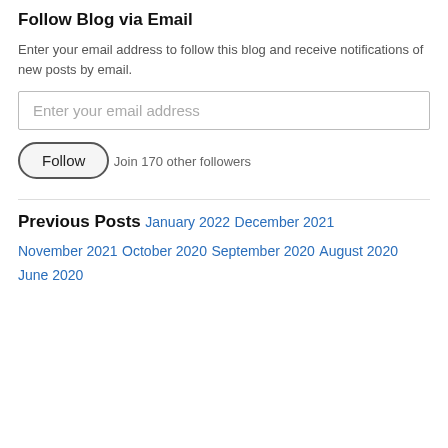Follow Blog via Email
Enter your email address to follow this blog and receive notifications of new posts by email.
Enter your email address
Follow
Join 170 other followers
Previous Posts
January 2022
December 2021
November 2021
October 2020
September 2020
August 2020
June 2020